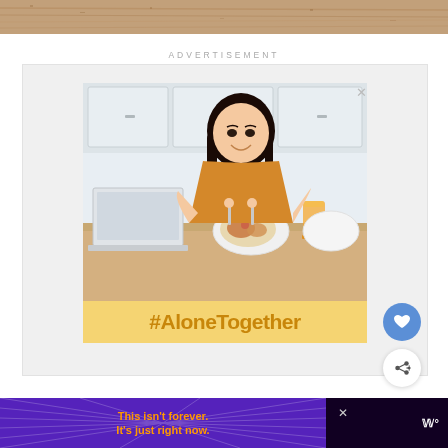[Figure (photo): Top strip showing a textured brown/tan surface (wood grain or sand texture)]
ADVERTISEMENT
[Figure (photo): Advertisement image showing a smiling young Asian woman with long dark hair wearing a mustard/orange top, eating at a kitchen table with a laptop, food plate, and orange juice glass. Kitchen cabinets visible in background. Below the photo is a yellow banner with '#AloneTogether' in dark golden/brown bold text.]
[Figure (infographic): Bottom advertisement bar with dark purple/black background, featuring a purple panel on the left with orange bold text reading 'This isn’t forever. It’s just right now.' with radiating sunburst lines, an X close button, and a logo mark on the right.]